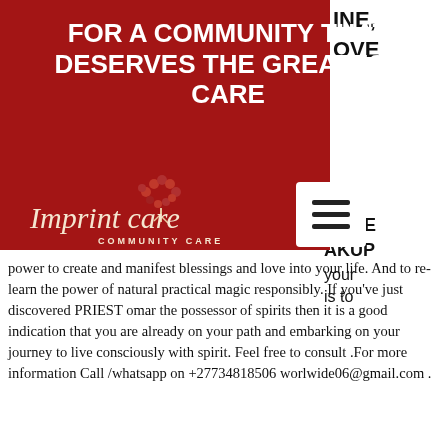FOR A COMMUNITY THAT DESERVES THE GREATEST CARE
[Figure (logo): Imprint Care Community Care logo — script text 'Imprint care' with a red tree/flower motif above the word 'COMMUNITY CARE']
power to create and manifest blessings and love into your life. And to re- learn the power of natural practical magic responsibly. If you've just discovered PRIEST omar the possessor of spirits then it is a good indication that you are already on your path and embarking on your journey to live consciously with spirit. Feel free to consult .For more information Call /whatsapp on +27734818506 worlwide06@gmail.com .